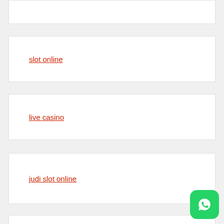slot online
live casino
judi slot online
[Figure (logo): WhatsApp icon button in green rounded square]